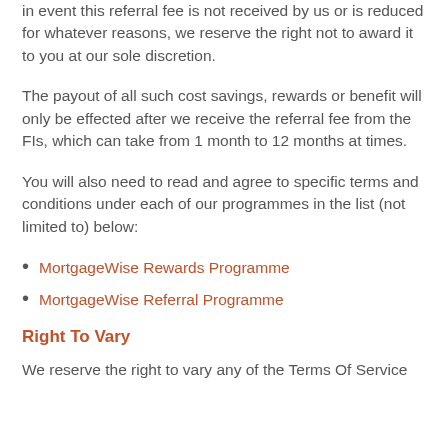in event this referral fee is not received by us or is reduced for whatever reasons, we reserve the right not to award it to you at our sole discretion.
The payout of all such cost savings, rewards or benefit will only be effected after we receive the referral fee from the FIs, which can take from 1 month to 12 months at times.
You will also need to read and agree to specific terms and conditions under each of our programmes in the list (not limited to) below:
MortgageWise Rewards Programme
MortgageWise Referral Programme
Right To Vary
We reserve the right to vary any of the Terms Of Service